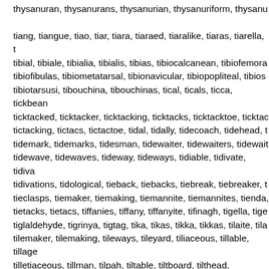thysanuran, thysanurans, thysanurian, thysanuriform, thysanu tiang, tiangue, tiao, tiar, tiara, tiaraed, tiaralike, tiaras, tiarella, tibial, tibiale, tibialia, tibialis, tibias, tibiocalcanean, tibiofemora, tibiofibulas, tibiometatarsal, tibionavicular, tibiopopliteal, tibioso, tibiotarsusi, tibouchina, tibouchinas, tical, ticals, ticca, tickbean, ticktacked, ticktacker, ticktacking, ticktacks, ticktacktoe, ticktac, tictacking, tictacs, tictactoe, tidal, tidally, tidecoach, tidehead, tidemark, tidemarks, tidesman, tidewaiter, tidewaiters, tidewait, tidewave, tidewaves, tideway, tideways, tidiable, tidivate, tidiva, tidivations, tidological, tieback, tiebacks, tiebreak, tiebreaker, tieclasps, tiemaker, tiemaking, tiemannite, tiemannites, tienda, tietacks, tietacs, tiffanies, tiffany, tiffanyite, tifinagh, tigella, tige, tiglaldehyde, tigrinya, tigtag, tika, tikas, tikka, tikkas, tilaite, tila, tilemaker, tilemaking, tileways, tileyard, tiliaceous, tillable, tillage, tilletiaceous, tillman, tilpah, tiltable, tiltboard, tilthead, tiltmaker, timaliine, timaline, timar, timarau, timaraus, timariot, timariots, timbale, timbales, timbals, timbang, timberhead, timberheads, timberman, timberyard, timberyards, timbral, timbromania, timbromanist, timeable, timecard, timecards, timeframe, timefr, timerau, timesaver, timesavers, timesaving, timescale, timesca, timestamp, timestamps, timetable, timetabled, timetables, time, timocracies, timocracy, timocratic, timocratical, timpana, timpa, timpanum, timpanums, tinage, tinaja, tinajas, tinamine, tinamo, tinclad, tinctorial, tinctorially, tinctumutation, tindal, tindalo, tind,